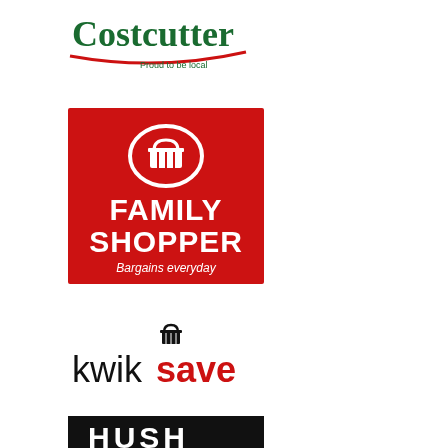[Figure (logo): Costcutter logo — green serif text 'Costcutter' with swoosh underline and tagline 'Proud to be local']
[Figure (logo): Family Shopper logo — red square background with shopping basket icon in white oval, bold white text 'FAMILY SHOPPER' and italic subtitle 'Bargains everyday']
[Figure (logo): Kwiksave logo — black 'kwik' and red bold 'save' text with a small black shopping basket icon above]
[Figure (logo): Partial black background logo at bottom of page, partially cropped]